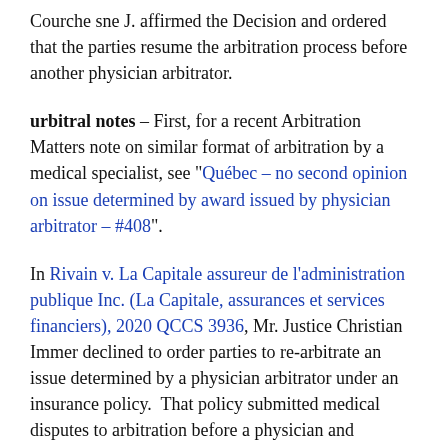Courche sne J. affirmed the Decision and ordered that the parties resume the arbitration process before another physician arbitrator.
urbitral notes – First, for a recent Arbitration Matters note on similar format of arbitration by a medical specialist, see "Québec – no second opinion on issue determined by award issued by physician arbitrator – #408".
In Rivain v. La Capitale assureur de l'administration publique Inc. (La Capitale, assurances et services financiers), 2020 QCCS 3936, Mr. Justice Christian Immer declined to order parties to re-arbitrate an issue determined by a physician arbitrator under an insurance policy. That policy submitted medical disputes to arbitration before a physician and subjected awards to the typical three (3) post-award options available to arbitral parties: compliance